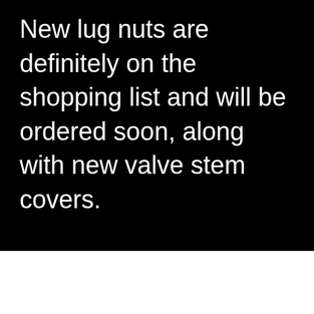New lug nuts are definitely on the shopping list and will be ordered soon, along with new valve stem covers.